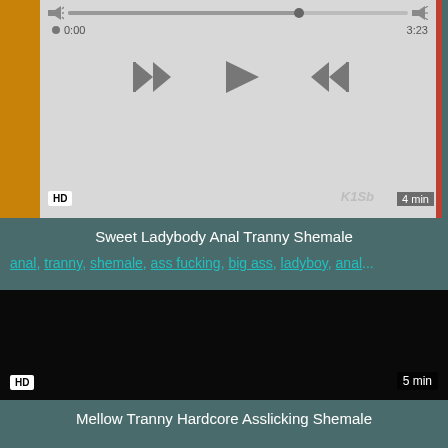[Figure (screenshot): Video player with playback controls, progress bar, HD badge, duration 4 min]
Sweet Ladybody Anal Tranny Shemale
anal, tranny, shemale, ass fucking, big ass, ladyboy, anal...
[Figure (screenshot): Dark video thumbnail with HD badge and 5 min duration]
Mellow Tranny Hardcore Asslicking Shemale